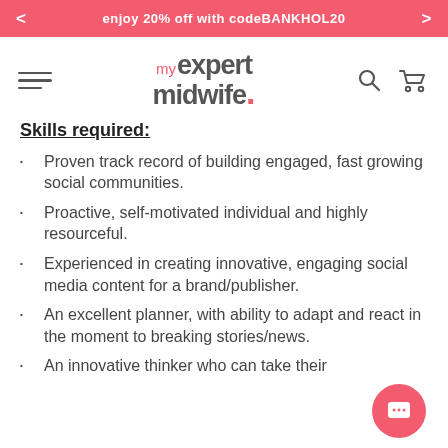enjoy 20% off with code BANKHOL20
[Figure (logo): my expert midwife logo with hamburger menu, search and pram icons]
Skills required:
Proven track record of building engaged, fast growing social communities.
Proactive, self-motivated individual and highly resourceful.
Experienced in creating innovative, engaging social media content for a brand/publisher.
An excellent planner, with ability to adapt and react in the moment to breaking stories/news.
An innovative thinker who can take their